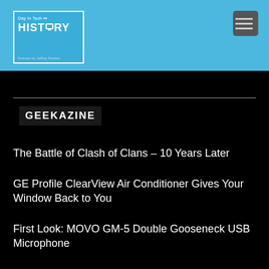[Figure (logo): Day In Tech HISTORY podcast logo — white text on blue background with monitor icon]
GEEKAZINE
The Battle of Clash of Clans – 10 Years Later
GE Profile ClearView Air Conditioner Gives Your Window Back to You
First Look: MOVO GM-5 Double Gooseneck USB Microphone